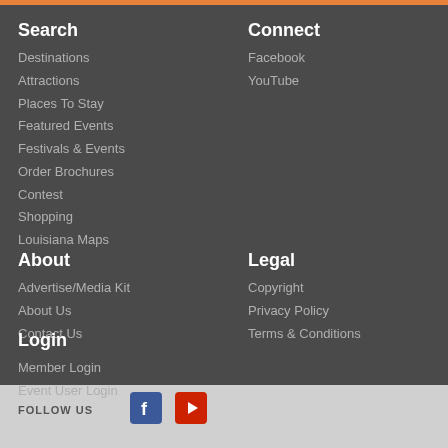Search
Destinations
Attractions
Places To Stay
Featured Events
Festivals & Events
Order Brochures
Contest
Shopping
Louisiana Maps
Connect
Facebook
YouTube
About
Advertise/Media Kit
About Us
Contact Us
Legal
Copyright
Privacy Policy
Terms & Conditions
Login
Member Login
Event User Login
FOLLOW US